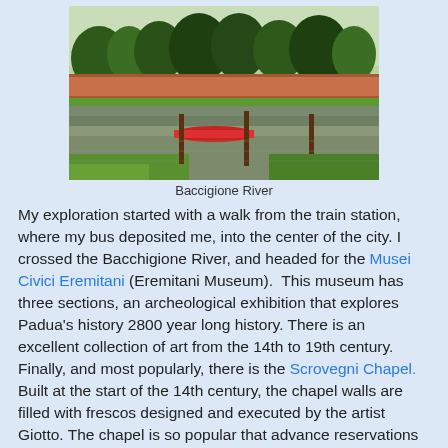[Figure (photo): Baccigione River with green banks, red boat on water, brick wall and trees in background]
Baccigione River
My exploration started with a walk from the train station, where my bus deposited me, into the center of the city. I crossed the Bacchigione River, and headed for the Musei Civici Eremitani (Eremitani Museum).  This museum has three sections, an archeological exhibition that explores Padua's history 2800 year long history. There is an excellent collection of art from the 14th to 19th century. Finally, and most popularly, there is the Scrovegni Chapel. Built at the start of the 14th century, the chapel walls are filled with frescos designed and executed by the artist Giotto. The chapel is so popular that advance reservations ARE A MUST, something I had paid attention to when reading my guide.